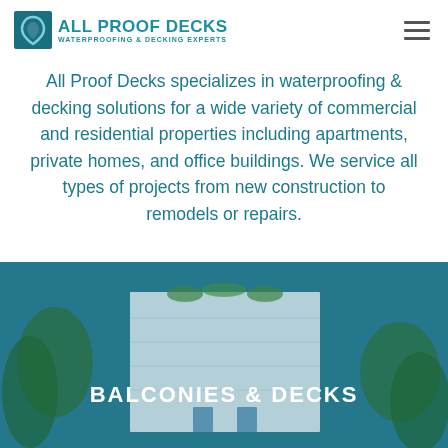[Figure (logo): All Proof Decks logo with teal shield/teardrop icon and company name 'ALL PROOF DECKS WATERPROOFING & DECKING EXPERTS']
All Proof Decks specializes in waterproofing & decking solutions for a wide variety of commercial and residential properties including apartments, private homes, and office buildings. We service all types of projects from new construction to remodels or repairs.
[Figure (photo): A multi-story modern white apartment building with balconies and green trees under a blue sky, overlaid with teal tint. Text overlay reads 'BALCONIES & DECKS'.]